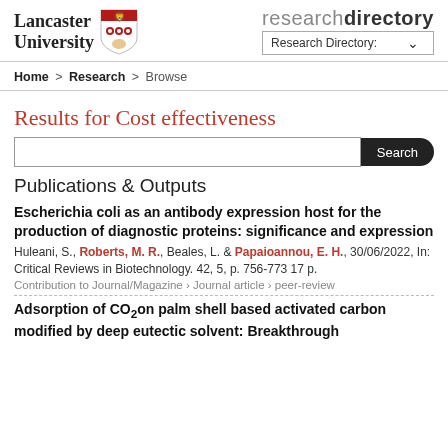[Figure (logo): Lancaster University logo with shield and text, plus Research Directory heading with dropdown]
Home > Research > Browse
Results for Cost effectiveness
[Figure (screenshot): Search input box with Search button]
Publications & Outputs
Escherichia coli as an antibody expression host for the production of diagnostic proteins: significance and expression
Huleani, S., Roberts, M. R., Beales, L. & Papaioannou, E. H., 30/06/2022, In: Critical Reviews in Biotechnology. 42, 5, p. 756-773 17 p.
Contribution to Journal/Magazine › Journal article › peer-review
Adsorption of CO2on palm shell based activated carbon modified by deep eutectic solvent: Breakthrough